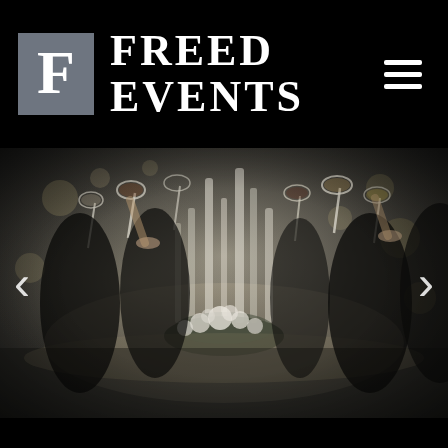[Figure (logo): Freed Events logo: grey box with white F letter followed by FREED EVENTS text in white serif font on black background]
[Figure (photo): Event banquet photo: elegantly dressed guests raising wine and champagne glasses in a toast along a long table with floral centerpieces and tall crystal candle holders, bokeh background]
[Figure (other): Left navigation arrow chevron for photo carousel]
[Figure (other): Right navigation arrow chevron for photo carousel]